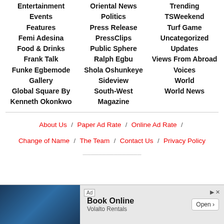Entertainment
Events
Features
Femi Adesina
Food & Drinks
Frank Talk
Funke Egbemode
Gallery
Global Square By Kenneth Okonkwo
Oriental News
Politics
Press Release
PressClips
Public Sphere
Ralph Egbu
Shola Oshunkeye
Sideview
South-West Magazine
Trending
TSWeekend
Turf Game
Uncategorized
Updates
Views From Abroad
Voices
World
World News
About Us / Paper Ad Rate / Online Ad Rate / Change of Name / The Team / Contact Us / Privacy Policy
[Figure (other): Advertisement banner for Volalto Rentals - Book Online]